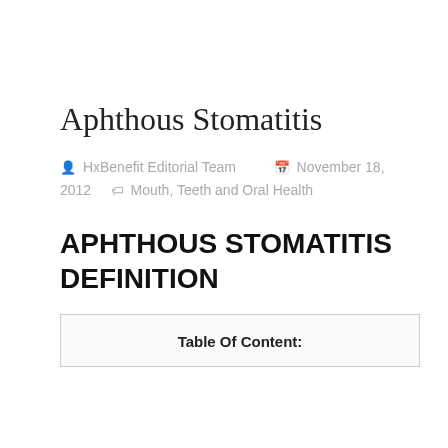Aphthous Stomatitis
HxBenefit Editorial Team   November 18, 2012   Mouth, Teeth and Oral Health
APHTHOUS STOMATITIS DEFINITION
Table Of Content: